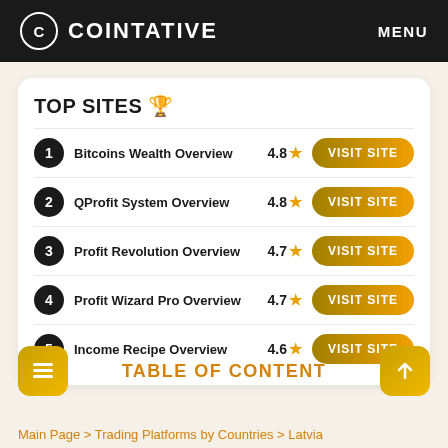COINTATIVE  MENU
TOP SITES 🏆
1  Bitcoins Wealth Overview  4.8 ★  VISIT SITE
2  QProfit System Overview  4.8 ★  VISIT SITE
3  Profit Revolution Overview  4.7 ★  VISIT SITE
4  Profit Wizard Pro Overview  4.7 ★  VISIT SITE
5  Income Recipe Overview  4.6 ★  VISIT SITE
TABLE OF CONTENT
Main Page > Trading Platforms by Countries > Latvia